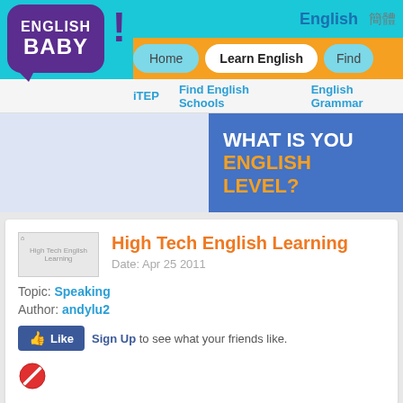[Figure (logo): English Baby logo - purple speech bubble with white text ENGLISH BABY and purple exclamation mark]
English  簡體
Home  Learn English  Find
iTEP  Find English Schools  English Grammar
[Figure (infographic): Blue banner with text: WHAT IS YOUR ENGLISH LEVEL?]
[Figure (photo): High Tech English Learning thumbnail image]
High Tech English Learning
Date: Apr 25 2011
Topic: Speaking
Author: andylu2
Sign Up to see what your friends like.
[Figure (illustration): Red circle with diagonal slash (no/stop icon)]